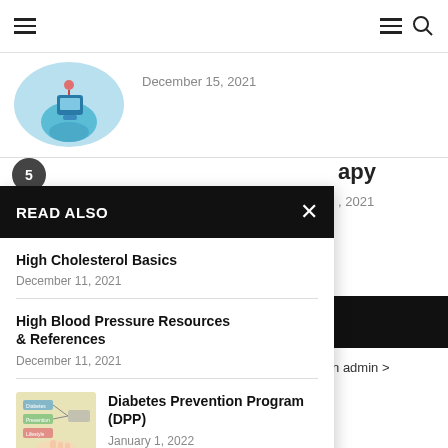Navigation bar with hamburger menu and search icon
[Figure (photo): Hand in blue glove holding glucose meter with blood drop, circular thumbnail]
December 15, 2021
5
apy
, 2021
READ ALSO
High Cholesterol Basics
December 11, 2021
High Blood Pressure Resources & References
December 11, 2021
[Figure (photo): Diagram of diabetes prevention with person pointing, thumbnail image]
Diabetes Prevention Program (DPP)
January 1, 2022
eck your settings in admin >